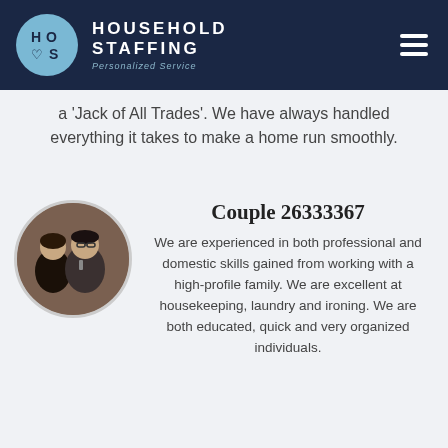HOUSEHOLD STAFFING — Personalized Service
a 'Jack of All Trades'. We have always handled everything it takes to make a home run smoothly.
[Figure (photo): Circular profile photo of a couple — a woman in black and a man in a suit and tie]
Couple 26333367
We are experienced in both professional and domestic skills gained from working with a high-profile family. We are excellent at housekeeping, laundry and ironing. We are both educated, quick and very organized individuals.